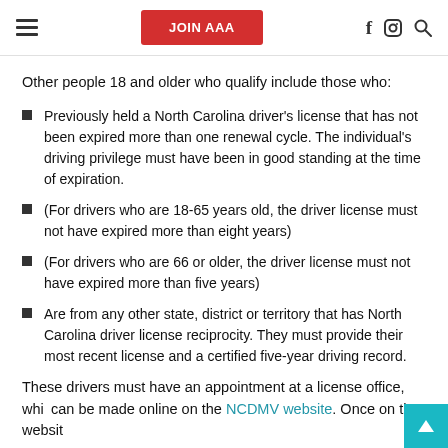JOIN AAA
Other people 18 and older who qualify include those who:
Previously held a North Carolina driver's license that has not been expired more than one renewal cycle. The individual's driving privilege must have been in good standing at the time of expiration.
(For drivers who are 18-65 years old, the driver license must not have expired more than eight years)
(For drivers who are 66 or older, the driver license must not have expired more than five years)
Are from any other state, district or territory that has North Carolina driver license reciprocity. They must provide their most recent license and a certified five-year driving record.
These drivers must have an appointment at a license office, which can be made online on the NCDMV website. Once on the website